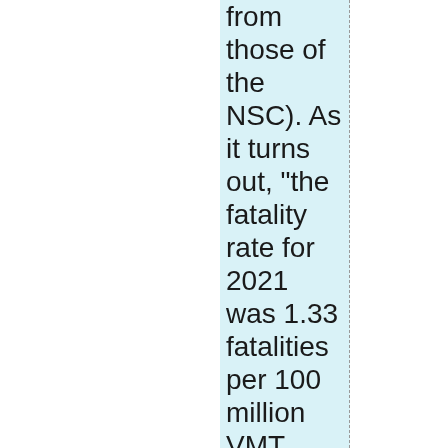from those of the NSC). As it turns out, "the fatality rate for 2021 was 1.33 fatalities per 100 million VMT [vehicle